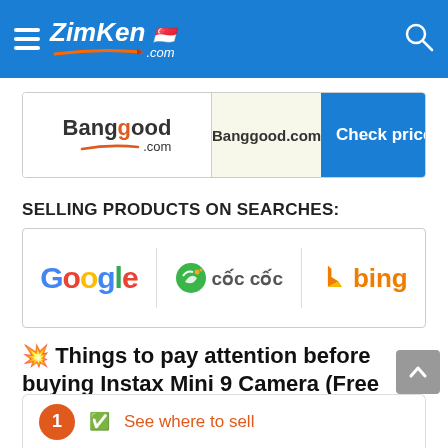ZimKen.com
| Logo | Store | Action |
| --- | --- | --- |
| Banggood .com | Banggood.com | Check price |
SELLING PRODUCTS ON SEARCHES:
[Figure (logo): Search engine logos: Google, Coc Coc, Bing]
💥 Things to pay attention before buying Instax Mini 9 Camera (Free Album+Sticker+Clip+Holder)
1 ✅ See where to sell